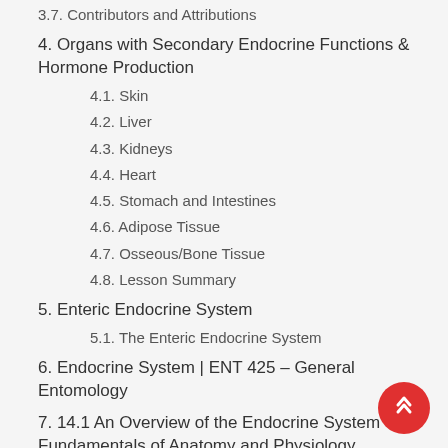3.7. Contributors and Attributions
4. Organs with Secondary Endocrine Functions & Hormone Production
4.1. Skin
4.2. Liver
4.3. Kidneys
4.4. Heart
4.5. Stomach and Intestines
4.6. Adipose Tissue
4.7. Osseous/Bone Tissue
4.8. Lesson Summary
5. Enteric Endocrine System
5.1. The Enteric Endocrine System
6. Endocrine System | ENT 425 – General Entomology
7. 14.1 An Overview of the Endocrine System – Fundamentals of Anatomy and Physiology
7.1. Neural and Endocrine Signalling
7.2. Structures of the Endocrine System
7.3. Other Types of Chemical Signalling
7.4. Career Connections